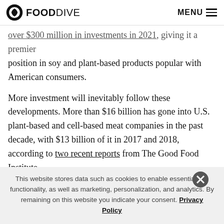FOOD DIVE | MENU
[truncated link text], giving it a premier position in soy and plant-based products popular with American consumers.
More investment will inevitably follow these developments. More than $16 billion has gone into U.S. plant-based and cell-based meat companies in the past decade, with $13 billion of it in 2017 and 2018, according to two recent reports from The Good Food Institute
This website stores data such as cookies to enable essential site functionality, as well as marketing, personalization, and analytics. By remaining on this website you indicate your consent. Privacy Policy